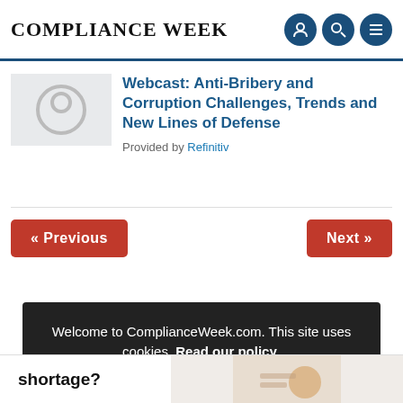COMPLIANCE WEEK
Webcast: Anti-Bribery and Corruption Challenges, Trends and New Lines of Defense
Provided by Refinitiv
« Previous
Next »
Welcome to ComplianceWeek.com. This site uses cookies. Read our policy.
OK
shortage?